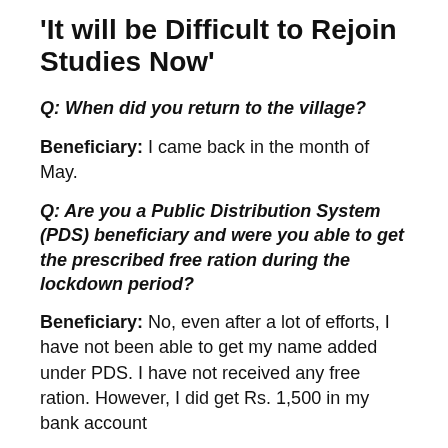'It will be Difficult to Rejoin Studies Now'
Q: When did you return to the village?
Beneficiary: I came back in the month of May.
Q: Are you a Public Distribution System (PDS) beneficiary and were you able to get the prescribed free ration during the lockdown period?
Beneficiary: No, even after a lot of efforts, I have not been able to get my name added under PDS. I have not received any free ration. However, I did get Rs. 1,500 in my bank account